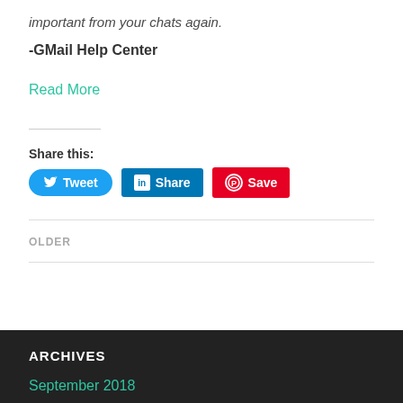important from your chats again.
-GMail Help Center
Read More
Share this:
[Figure (other): Social share buttons: Tweet (Twitter/blue rounded), Share (LinkedIn/blue), Save (Pinterest/red)]
OLDER
ARCHIVES
September 2018